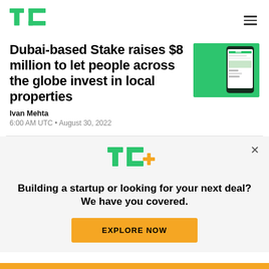TechCrunch
Dubai-based Stake raises $8 million to let people across the globe invest in local properties
Ivan Mehta
6:00 AM UTC • August 30, 2022
[Figure (screenshot): Phone screenshot showing Stake app on green background]
[Figure (logo): TC+ logo with green TC and yellow plus sign]
Building a startup or looking for your next deal? We have you covered.
EXPLORE NOW